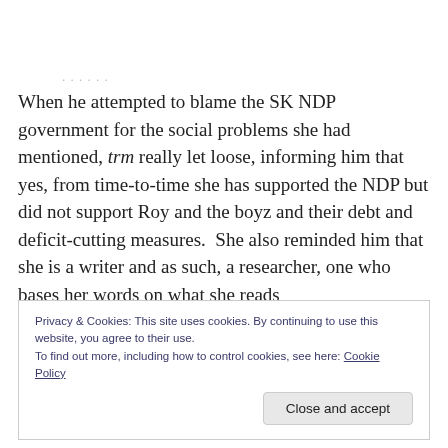When he attempted to blame the SK NDP government for the social problems she had mentioned, trm really let loose, informing him that yes, from time-to-time she has supported the NDP but did not support Roy and the boyz and their debt and deficit-cutting measures.  She also reminded him that she is a writer and as such, a researcher, one who bases her words on what she reads
Privacy & Cookies: This site uses cookies. By continuing to use this website, you agree to their use.
To find out more, including how to control cookies, see here: Cookie Policy
Close and accept
former locks us in for 31 years and the latter allows us to